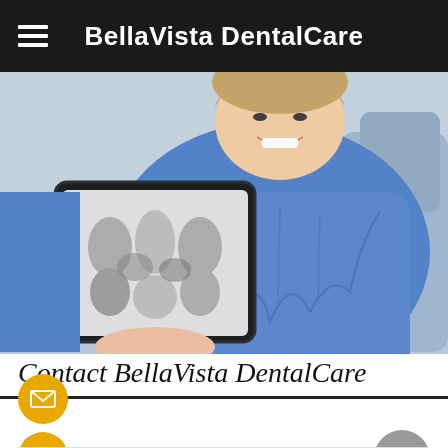BellaVista DentalCare
[Figure (photo): A dental patient wearing a blue dental bib sitting in a dental chair, smiling, and holding a tablet displaying dental X-ray images.]
Contact BellaVista DentalCare